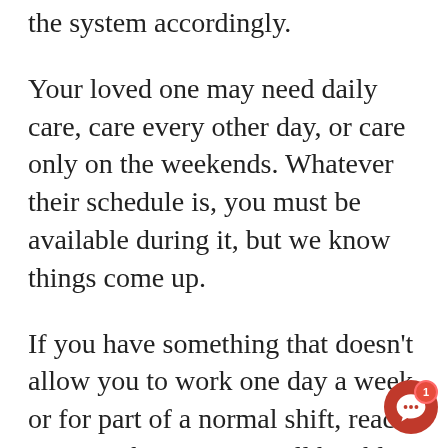the system accordingly.
Your loved one may need daily care, care every other day, or care only on the weekends. Whatever their schedule is, you must be available during it, but we know things come up.
If you have something that doesn't allow you to work one day a week or for part of a normal shift, reach out to us because we will be able to figure out of that out for you. This way, you can continue to receive the right pay, and